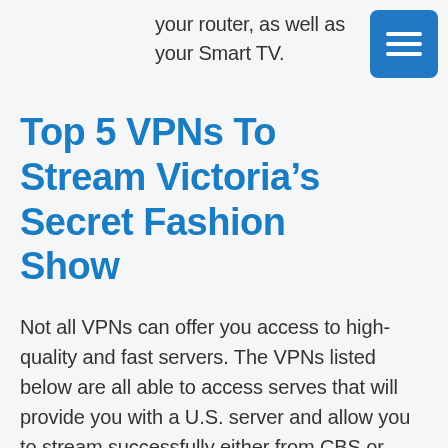your router, as well as your Smart TV.
Top 5 VPNs To Stream Victoria’s Secret Fashion Show
Not all VPNs can offer you access to high-quality and fast servers. The VPNs listed below are all able to access serves that will provide you with a U.S. server and allow you to stream successfully either from CBS or Hulu. Once you've subscribed, look at the status of each server